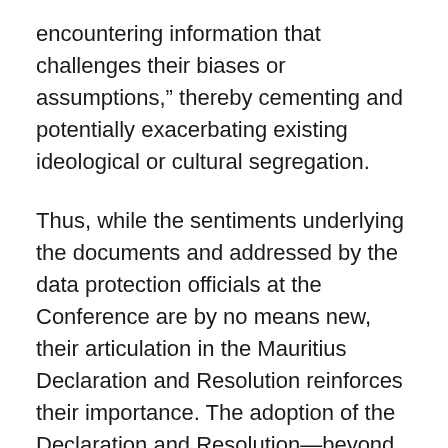encountering information that challenges their biases or assumptions," thereby cementing and potentially exacerbating existing ideological or cultural segregation.
Thus, while the sentiments underlying the documents and addressed by the data protection officials at the Conference are by no means new, their articulation in the Mauritius Declaration and Resolution reinforces their importance. The adoption of the Declaration and Resolution—beyond the practicalities of their concrete recommendations—serves as a reminder of the importance of ethics in tackling issues of data privacy and the potential risks of a world of big data-driven digital predestination.